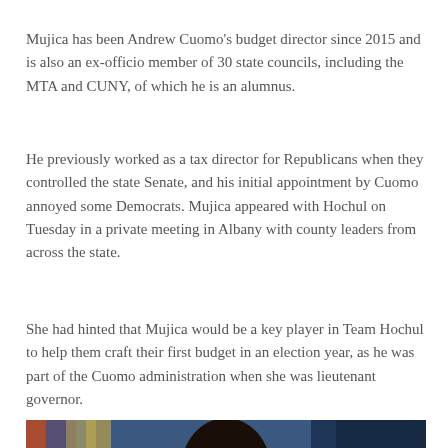Mujica has been Andrew Cuomo's budget director since 2015 and is also an ex-officio member of 30 state councils, including the MTA and CUNY, of which he is an alumnus.
He previously worked as a tax director for Republicans when they controlled the state Senate, and his initial appointment by Cuomo annoyed some Democrats. Mujica appeared with Hochul on Tuesday in a private meeting in Albany with county leaders from across the state.
She had hinted that Mujica would be a key player in Team Hochul to help them craft their first budget in an election year, as he was part of the Cuomo administration when she was lieutenant governor.
[Figure (photo): Photo of a woman with dark hair at what appears to be an official government press conference or event, with flags visible in the background and blue curtains.]